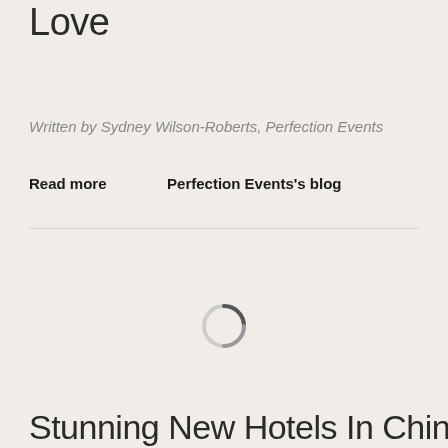Love
Written by Sydney Wilson-Roberts, Perfection Events
Read more    Perfection Events's blog
[Figure (other): A loading spinner icon — a circular ring partially dark gray and partially light, indicating content is loading]
Stunning New Hotels In China